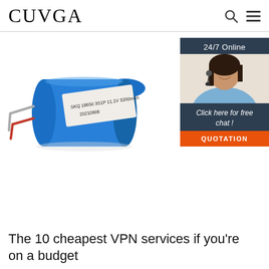CUVGA
[Figure (photo): Blue cylindrical lithium battery labeled SKQ 18650 3S1P 11.1V 3200mAh 20210908 with red and black wire leads, shown at an angle on white background. Next to it is a customer service ad widget showing '24/7 Online' with a photo of a woman with headset, 'Click here for free chat!' and an orange 'QUOTATION' button.]
The 10 cheapest VPN services if you're on a budget